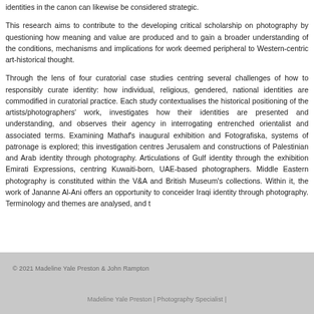identities in the canon can likewise be considered strategic.
This research aims to contribute to the developing critical scholarship on photography by questioning how meaning and value are produced and to gain a broader understanding of the conditions, mechanisms and implications for work deemed peripheral to Western-centric art-historical thought.
Through the lens of four curatorial case studies centring several challenges of how to responsibly curate identity: how individual, religious, gendered, national identities are commodified in curatorial practice. Each study contextualises the historical positioning of the artists/photographers' work, investigates how their identities are presented and understanding, and observes their agency in interrogating entrenched orientalist and associated terms. Examining Mathaf's inaugural exhibition and Fotografiska, the role of systems of patronage is explored; this investigation centres Jerusalem and constructions of Palestinian and Arab identity through photography. Articulations of Gulf identity through the exhibition Emirati Expressions, centring Kuwaiti-born, UAE-based photographers. Middle Eastern photography is constituted within the V&A and British Museum's collections. Within it, the work of Jananne Al-Ani offers an opportunity to consider Iraqi identity through photography. Terminology and themes are analysed, and t
© 2021 Madeline Yale Preston & John Rampton
Madeline Yale Preston | Photography Specialist |